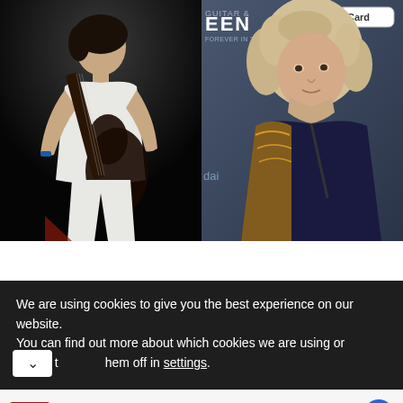[Figure (photo): Two side-by-side photos: left shows a musician playing bass guitar on a dark stage wearing a white shirt; right shows a curly-haired older man in a gold/blue jacket at what appears to be a Queen-related event, with partial text 'QUEEN' and 'Card' visible in background]
We are using cookies to give you the best experience on our website.
You can find out more about which cookies we are using or switch them off in settings.
Shop In-Store Or Online